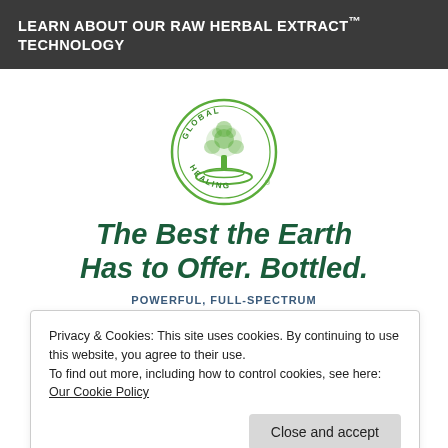LEARN ABOUT OUR RAW HERBAL EXTRACT™ TECHNOLOGY
[Figure (logo): Global Healing circular logo with a green tree and leaves, text reading GLOBAL HEALING around the circle]
The Best the Earth Has to Offer. Bottled.
POWERFUL, FULL-SPECTRUM RAW HERBAL EXTRACTS FOR
Privacy & Cookies: This site uses cookies. By continuing to use this website, you agree to their use.
To find out more, including how to control cookies, see here:
Our Cookie Policy
Close and accept